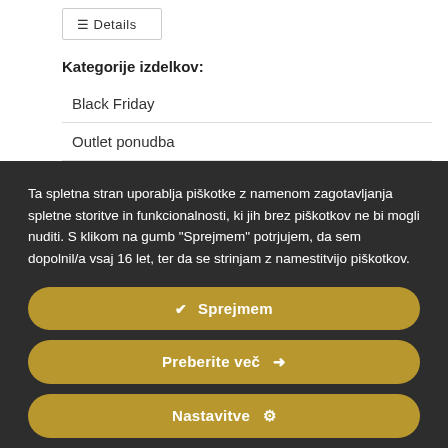[Figure (screenshot): Details button with list icon inside a bordered box]
Kategorije izdelkov:
Black Friday
Outlet ponudba
Ta spletna stran uporablja piškotke z namenom zagotavljanja spletne storitve in funkcionalnosti, ki jih brez piškotkov ne bi mogli nuditi. S klikom na gumb "Sprejmem" potrjujem, da sem dopolnil/a vsaj 16 let, ter da se strinjam z namestitvijo piškotkov.
✔  Sprejmem
Preberite več  ➜
Nastavitve  ⚙
Izdelki kategorije P1